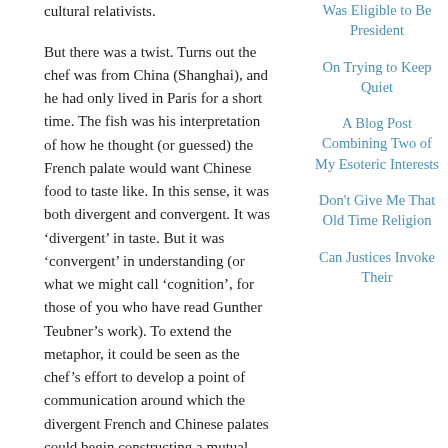cultural relativists.
But there was a twist. Turns out the chef was from China (Shanghai), and he had only lived in Paris for a short time. The fish was his interpretation of how he thought (or guessed) the French palate would want Chinese food to taste like. In this sense, it was both divergent and convergent. It was ‘divergent’ in taste. But it was ‘convergent’ in understanding (or what we might call ‘cognition’, for those of you who have read Gunther Teubner’s work). To extend the metaphor, it could be seen as the chef’s effort to develop a point of communication around which the divergent French and Chinese palates could begin constructing a mutual comprehension of one another.
I suspect that this is also what is happening with regards to many of the world’s legal cultures –
Was Eligible to Be President
On Trying to Keep Quiet
A Blog Post Combining Two of My Esoteric Interests
Don't Give Me That Old Time Religion
Can Justices Invoke Their